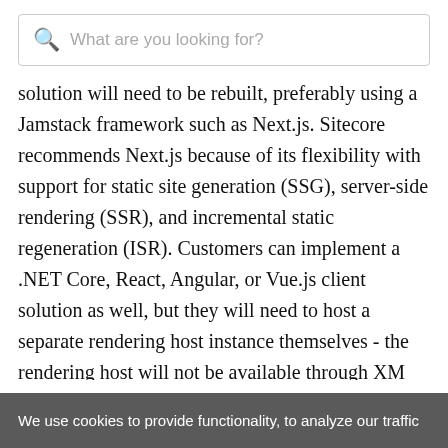[Figure (other): Search bar with magnifying glass icon and placeholder text 'What are you looking for?']
solution will need to be rebuilt, preferably using a Jamstack framework such as Next.js. Sitecore recommends Next.js because of its flexibility with support for static site generation (SSG), server-side rendering (SSR), and incremental static regeneration (ISR). Customers can implement a .NET Core, React, Angular, or Vue.js client solution as well, but they will need to host a separate rendering host instance themselves - the rendering host will not be available through XM Cloud. This separate rendering host is not required by Next.js as Next.js includes the rendering host capability as part of its run-time. Once the backend refactoring and the frontend rebuild are done, content and layout will be published to
We use cookies to provide functionality, to analyze our traffic